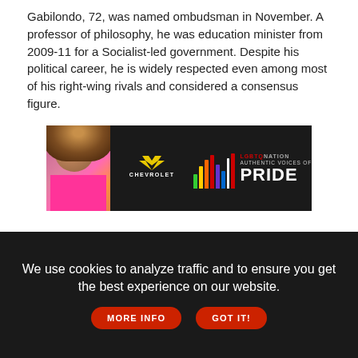Gabilondo, 72, was named ombudsman in November. A professor of philosophy, he was education minister from 2009-11 for a Socialist-led government. Despite his political career, he is widely respected even among most of his right-wing rivals and considered a consensus figure.
[Figure (infographic): Chevrolet advertisement banner for LGBTQ Nation Authentic Voices of Pride, dark background with person in pink shirt on left, colorful bar chart graphic in center, and text on right.]
Copyright Associated Press. All rights reserved. This material may not be published, broadcast, rewritten, or redistributed.
INSIDE EDGE
[Figure (photo): Colorful powder paint splatter photo, also showing 'ALSO IN NEWS' label on right side.]
We use cookies to analyze traffic and to ensure you get the best experience on our website.